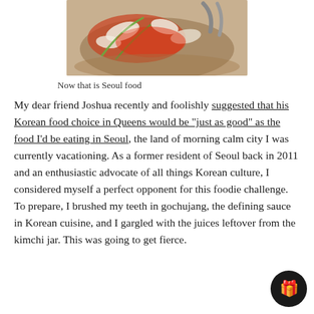[Figure (photo): A bowl of Korean food being mixed with tongs, showing kimchi, vegetables, and sauce]
Now that is Seoul food
My dear friend Joshua recently and foolishly suggested that his Korean food choice in Queens would be “just as good” as the food I’d be eating in Seoul, the land of morning calm city I was currently vacationing. As a former resident of Seoul back in 2011 and an enthusiastic advocate of all things Korean culture, I considered myself a perfect opponent for this foodie challenge. To prepare, I brushed my teeth in gochujang, the defining sauce in Korean cuisine, and I gargled with the juices leftover from the kimchi jar. This was going to get fierce.